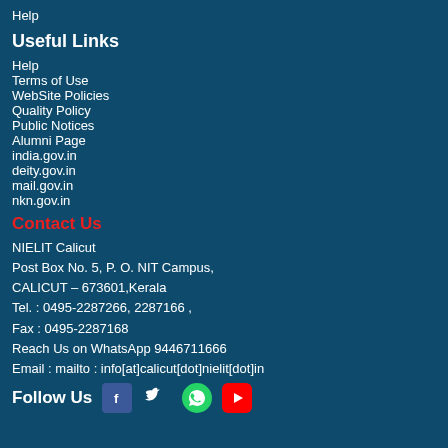Help
Useful Links
Help
Terms of Use
WebSite Policies
Quality Policy
Public Notices
Alumni Page
india.gov.in
deity.gov.in
mail.gov.in
nkn.gov.in
Contact Us
NIELIT Calicut
Post Box No. 5, P. O. NIT Campus,
CALICUT – 673601,Kerala
Tel. : 0495-2287266, 2287166 ,
Fax : 0495-2287168
Reach Us on WhatsApp 9446711666
Email : mailto : info[at]calicut[dot]nielit[dot]in
Follow Us